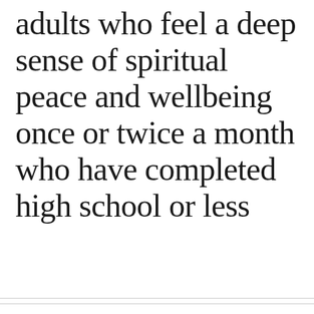adults who feel a deep sense of spiritual peace and wellbeing once or twice a month who have completed high school or less